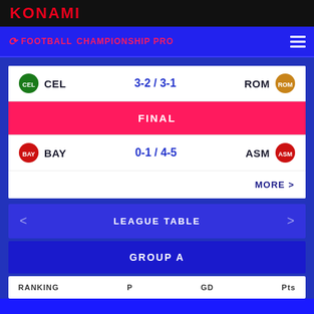KONAMI
eFootball CHAMPIONSHIP PRO
| Team | Score | Team |
| --- | --- | --- |
| CEL | 3-2 / 3-1 | ROM |
| FINAL |  |  |
| BAY | 0-1 / 4-5 | ASM |
| MORE > |  |  |
LEAGUE TABLE
GROUP A
| RANKING | P | GD | Pts |
| --- | --- | --- | --- |